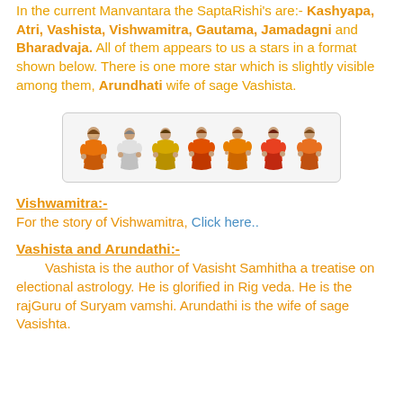In the current Manvantara the SaptaRishi's are:- Kashyapa, Atri, Vashista, Vishwamitra, Gautama, Jamadagni and Bharadvaja. All of them appears to us a stars in a format shown below. There is one more star which is slightly visible among them, Arundhati wife of sage Vashista.
[Figure (illustration): Seven seated sage figures (Saptarishis) shown in a row inside a bordered box, depicted in traditional attire in various colors.]
Vishwamitra:-
For the story of Vishwamitra, Click here..
Vashista and Arundathi:-
Vashista is the author of Vasisht Samhitha a treatise on electional astrology. He is glorified in Rig veda. He is the rajGuru of Suryam vamshi. Arundathi is the wife of sage Vasishta.